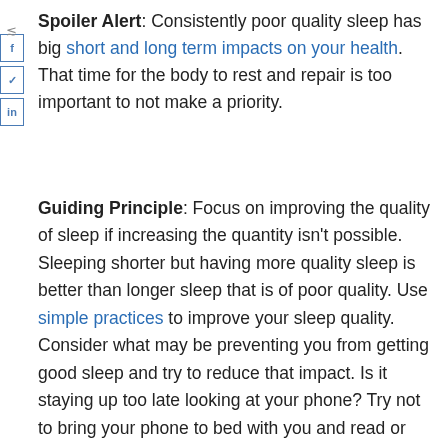Spoiler Alert: Consistently poor quality sleep has big short and long term impacts on your health. That time for the body to rest and repair is too important to not make a priority.
Guiding Principle: Focus on improving the quality of sleep if increasing the quantity isn't possible. Sleeping shorter but having more quality sleep is better than longer sleep that is of poor quality. Use simple practices to improve your sleep quality. Consider what may be preventing you from getting good sleep and try to reduce that impact. Is it staying up too late looking at your phone? Try not to bring your phone to bed with you and read or journal instead. Do noises or lights wake